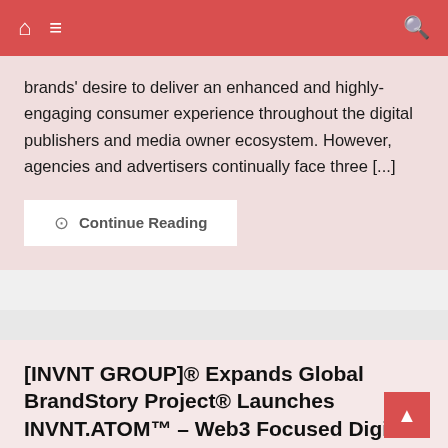Navigation bar with home, menu, and search icons
brands' desire to deliver an enhanced and highly-engaging consumer experience throughout the digital publishers and media owner ecosystem. However, agencies and advertisers continually face three [...]
Continue Reading
[INVNT GROUP]® Expands Global BrandStory Project® Launches INVNT.ATOM™ – Web3 Focused Digital Innovation Division
April 20, 2022   Admin
New York, NY April 19, 2022 (GLOBE NEWSWIRE) – [INVNT